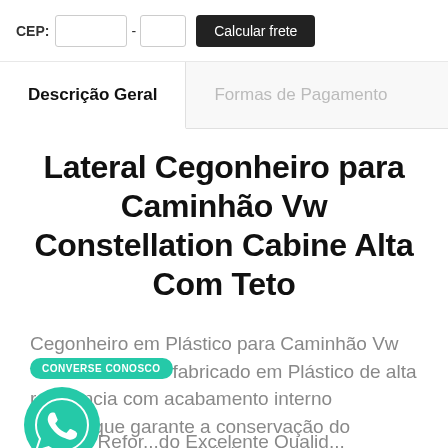CEP: [input] - [input] Calcular frete
Descrição Geral
Formas de Pagamento
Lateral Cegonheiro para Caminhão Vw Constellation Cabine Alta Com Teto
Cegonheiro em Plástico para Caminhão Vw fabricado em Plástico de alta resistência com acabamento interno do que garante a conservação do l e alonga a vida útil da peça
Modelo Refor...do Excelente Qualid...